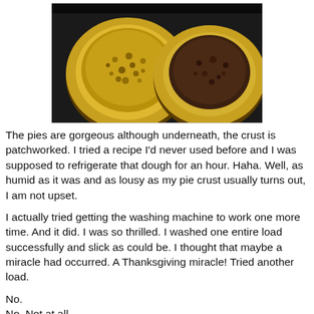[Figure (photo): Two baked pies side by side on a dark surface. The left pie has a golden fluted crust with a pecan/nut topping. The right pie has a golden fluted crust with a dark chocolate/pecan filling.]
The pies are gorgeous although underneath, the crust is patchworked. I tried a recipe I'd never used before and I was supposed to refrigerate that dough for an hour. Haha. Well, as humid as it was and as lousy as my pie crust usually turns out, I am not upset.
I actually tried getting the washing machine to work one more time. And it did. I was so thrilled. I washed one entire load successfully and slick as could be. I thought that maybe a miracle had occurred. A Thanksgiving miracle! Tried another load.
No.
No. Not at all.